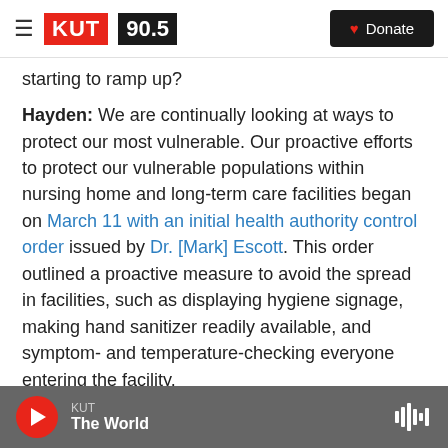KUT 90.5 | Donate
starting to ramp up?
Hayden: We are continually looking at ways to protect our most vulnerable. Our proactive efforts to protect our vulnerable populations within nursing home and long-term care facilities began on March 11 with an initial health authority control order issued by Dr. [Mark] Escott. This order outlined a proactive measure to avoid the spread in facilities, such as displaying hygiene signage, making hand sanitizer readily available, and symptom- and temperature-checking everyone entering the facility.
KUT | The World